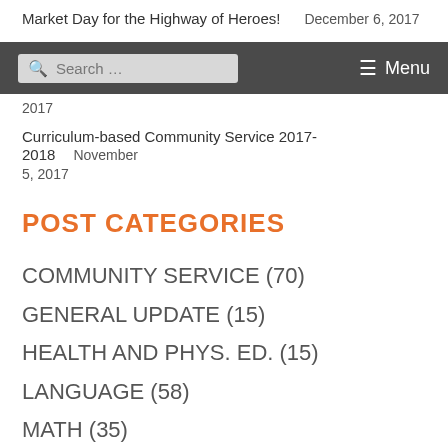Market Day for the Highway of Heroes!    December 6, 2017
2017
Curriculum-based Community Service 2017-2018    November 5, 2017
POST CATEGORIES
COMMUNITY SERVICE (70)
GENERAL UPDATE (15)
HEALTH AND PHYS. ED. (15)
LANGUAGE (58)
MATH (35)
SCIENCE (50)